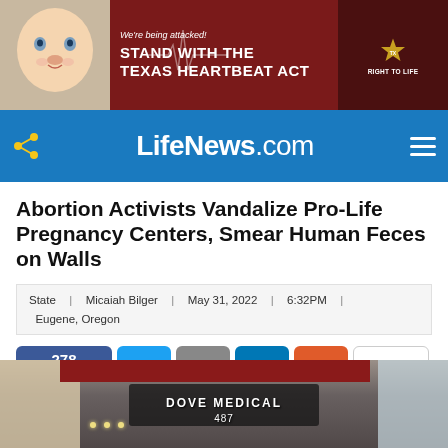[Figure (illustration): Banner advertisement for Texas Right to Life showing 'We're being attacked! STAND WITH THE TEXAS HEARTBEAT ACT' with a baby photo on the left, ECG line graphic in center, and Texas Right to Life logo on right]
LifeNews.com
Abortion Activists Vandalize Pro-Life Pregnancy Centers, Smear Human Feces on Walls
State | Micaiah Bilger | May 31, 2022 | 6:32PM | Eugene, Oregon
[Figure (infographic): Social share buttons row: Facebook Share (278), Twitter, Email, LinkedIn, More (+), and count (17)]
[Figure (photo): Partial photo of Dove Medical building exterior with sign reading DOVE MEDICAL 487]